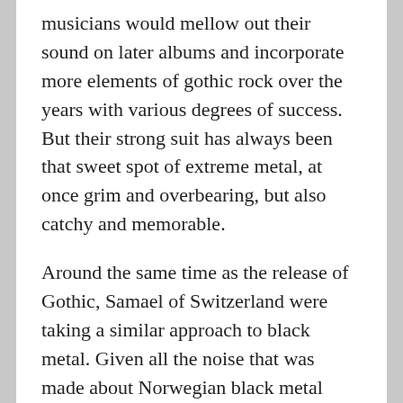musicians would mellow out their sound on later albums and incorporate more elements of gothic rock over the years with various degrees of success. But their strong suit has always been that sweet spot of extreme metal, at once grim and overbearing, but also catchy and memorable.
Around the same time as the release of Gothic, Samael of Switzerland were taking a similar approach to black metal. Given all the noise that was made about Norwegian black metal around the same time that Samael released ‘Worship Him’ in 1991, it’s easy to forget that there is much to black metal outside of relentless tremolo strumming  and blast-beats. Another